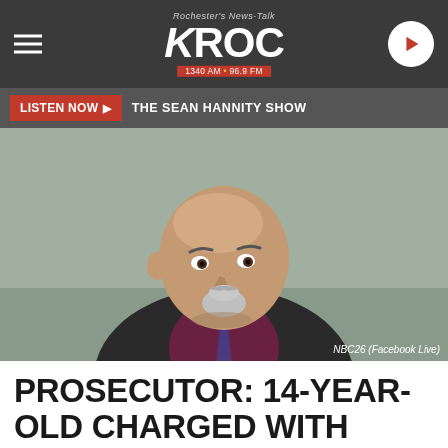Rochester's News-Talk KROC 1340 AM • 96.9 FM
LISTEN NOW ▶  THE SEAN HANNITY SHOW
[Figure (photo): A bald middle-aged man with a goatee wearing a dark suit and purple shirt and tie, seated at a table, looking to his left. Credit: NBC26 (Facebook Live)]
PROSECUTOR: 14-YEAR-OLD CHARGED WITH KILLING